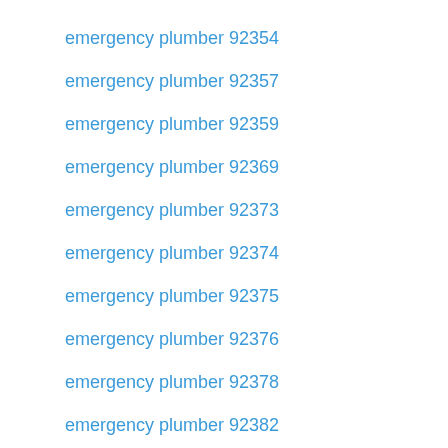emergency plumber 92354
emergency plumber 92357
emergency plumber 92359
emergency plumber 92369
emergency plumber 92373
emergency plumber 92374
emergency plumber 92375
emergency plumber 92376
emergency plumber 92378
emergency plumber 92382